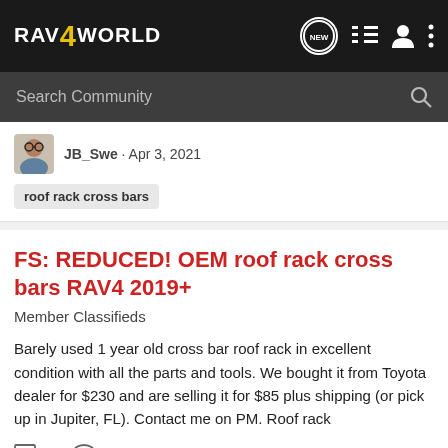RAV4WORLD
Search Community
JB_Swe · Apr 3, 2021
roof rack cross bars
FS: REDUCED! OEM roof rack cross bars RAV4 2019+
Member Classifieds
Barely used 1 year old cross bar roof rack in excellent condition with all the parts and tools. We bought it from Toyota dealer for $230 and are selling it for $85 plus shipping (or pick up in Jupiter, FL). Contact me on PM. Roof rack
0   1K
Pelle · Mar 23, 2021